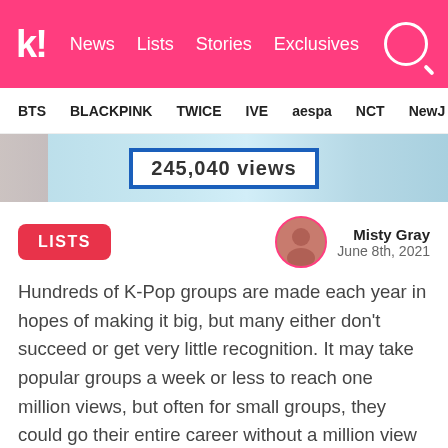koreaboo — News | Lists | Stories | Exclusives
BTS  BLACKPINK  TWICE  IVE  aespa  NCT  NewJ
[Figure (photo): Partial hero image showing '245,040 views' counter box against light blue background with K-pop artists partially visible]
LISTS
Misty Gray
June 8th, 2021
Hundreds of K-Pop groups are made each year in hopes of making it big, but many either don't succeed or get very little recognition. It may take popular groups a week or less to reach one million views, but often for small groups, they could go their entire career without a million view video.
Previously, we've shown you groups with